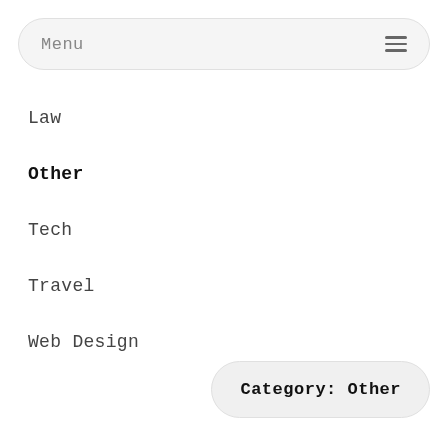Menu
Law
Other
Tech
Travel
Web Design
Category: Other